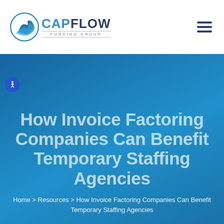[Figure (logo): CapFlow Funding Group logo with blue wave icon and company name]
How Invoice Factoring Companies Can Benefit Temporary Staffing Agencies
Home > Resources > How Invoice Factoring Companies Can Benefit Temporary Staffing Agencies